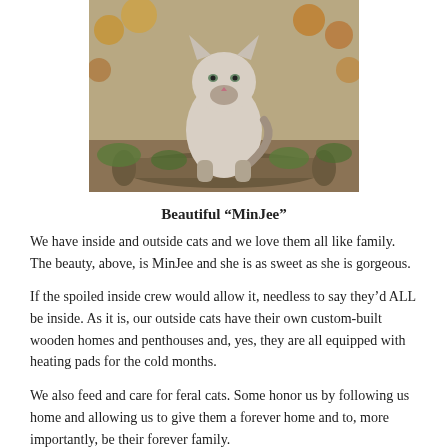[Figure (photo): A light-colored cat (MinJee) sitting outdoors on a log, surrounded by autumn leaves and green grass.]
Beautiful “MinJee”
We have inside and outside cats and we love them all like family. The beauty, above, is MinJee and she is as sweet as she is gorgeous.
If the spoiled inside crew would allow it, needless to say they’d ALL be inside. As it is, our outside cats have their own custom-built wooden homes and penthouses and, yes, they are all equipped with heating pads for the cold months.
We also feed and care for feral cats. Some honor us by following us home and allowing us to give them a forever home and to, more importantly, be their forever family.